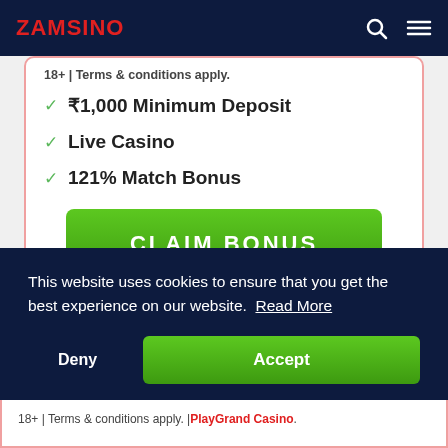ZAMSINO
18+ | Terms & conditions apply.
✓ ₹1,000 Minimum Deposit
✓ Live Casino
✓ 121% Match Bonus
CLAIM BONUS
This website uses cookies to ensure that you get the best experience on our website. Read More
Deny
Accept
18+ | Terms & conditions apply. | PlayGrand Casino.